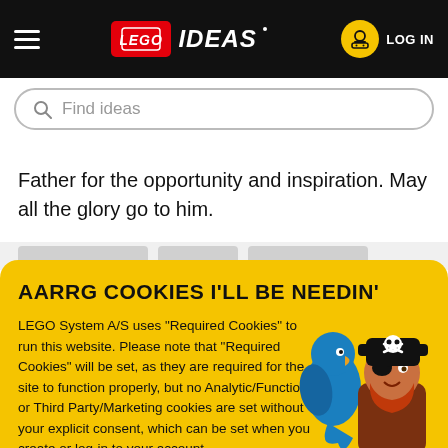LEGO IDEAS
Father for the opportunity and inspiration. May all the glory go to him.
AARRG COOKIES I'LL BE NEEDIN'
LEGO System A/S uses "Required Cookies" to run this website. Please note that "Required Cookies" will be set, as they are required for the site to function properly, but no Analytic/Functional or Third Party/Marketing cookies are set without your explicit consent, which can be set when you create or log-in to your account.
OK
[Figure (illustration): LEGO pirate minifigure with skull-and-crossbones hat and a blue parrot, bottom-right corner of cookie banner]